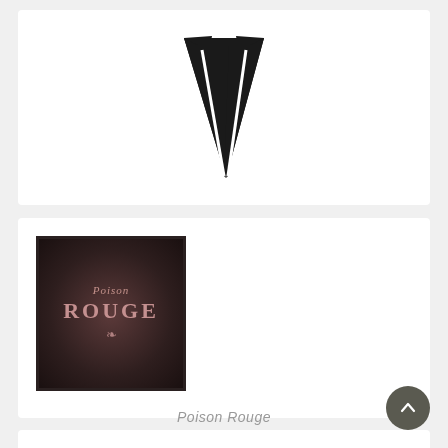[Figure (logo): Black fox head / V-shaped geometric logo on white background]
[Figure (logo): Dark square logo with rose-gold text reading 'Poison ROUGE' in decorative serif typeface on dark background]
Poison Rouge